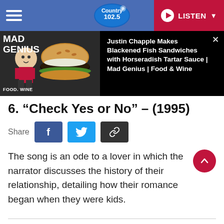Country 102.5 — LISTEN
[Figure (screenshot): Mad Genius video thumbnail showing a blackened fish burger sandwich with a chef, overlaid with text: Justin Chapple Makes Blackened Fish Sandwiches with Horseradish Tartar Sauce | Mad Genius | Food & Wine]
6. “Check Yes or No” – (1995)
Share
The song is an ode to a lover in which the narrator discusses the history of their relationship, detailing how their romance began when they were kids.